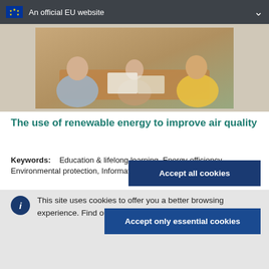An official EU website
[Figure (photo): Photo of people sitting around a table, appearing to be in a meeting or workshop, viewed from above/side angle.]
The use of renewable energy to improve air quality
Keywords:    Education & lifelong learning, Energy efficiency, Environmental protection, Information & promotion activities, Rural
This site uses cookies to offer you a better browsing experience. Find out more on how we use cookies.
Accept all cookies
Accept only essential cookies